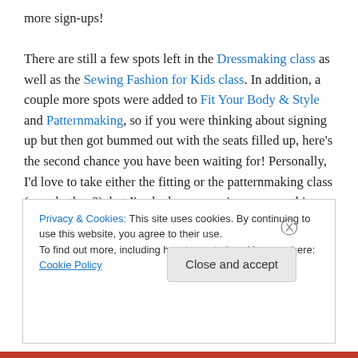more sign-ups! There are still a few spots left in the Dressmaking class as well as the Sewing Fashion for Kids class. In addition, a couple more spots were added to Fit Your Body & Style and Patternmaking, so if you were thinking about signing up but then got bummed out with the seats filled up, here's the second chance you have been waiting for! Personally, I'd love to take either the fitting or the patternmaking class (or… both…?), but I've had an expensive summer this year (all I can say about that is – car a/c work is a
Privacy & Cookies: This site uses cookies. By continuing to use this website, you agree to their use. To find out more, including how to control cookies, see here: Cookie Policy
Close and accept